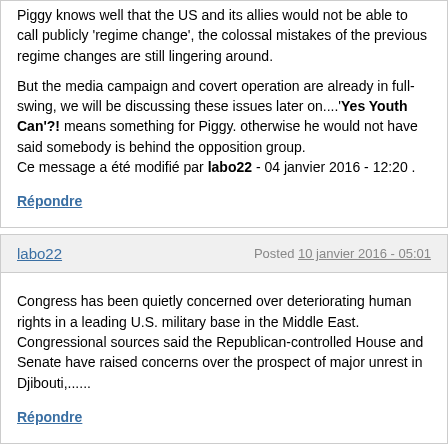Piggy knows well that the US and its allies would not be able to call publicly 'regime change', the colossal mistakes of the previous regime changes are still lingering around.

But the media campaign and covert operation are already in full-swing, we will be discussing these issues later on....'Yes Youth Can'?! means something for Piggy. otherwise he would not have said somebody is behind the opposition group.
Ce message a été modifié par labo22 - 04 janvier 2016 - 12:20 .
Répondre
labo22
Posted 10 janvier 2016 - 05:01
Congress has been quietly concerned over deteriorating human rights in a leading U.S. military base in the Middle East. Congressional sources said the Republican-controlled House and Senate have raised concerns over the prospect of major unrest in Djibouti,......
Répondre
labo22
Posted 12 janvier 2016 - 04:40